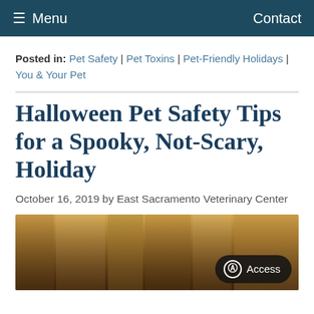≡ Menu   Contact
Posted in: Pet Safety | Pet Toxins | Pet-Friendly Holidays | You & Your Pet
Halloween Pet Safety Tips for a Spooky, Not-Scary, Holiday
October 16, 2019 by East Sacramento Veterinary Center
[Figure (photo): Photo of a pet related to Halloween, shown partially cropped with warm golden/brown tones in the background. An accessibility button is visible in the bottom right corner.]